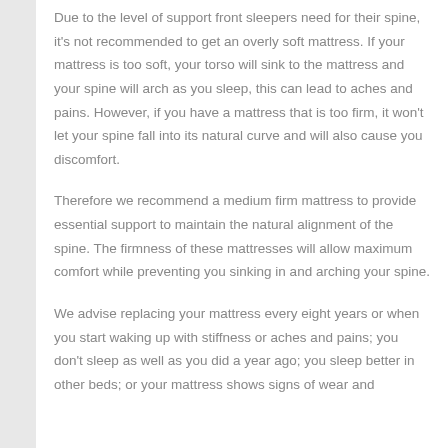Due to the level of support front sleepers need for their spine, it's not recommended to get an overly soft mattress. If your mattress is too soft, your torso will sink to the mattress and your spine will arch as you sleep, this can lead to aches and pains. However, if you have a mattress that is too firm, it won't let your spine fall into its natural curve and will also cause you discomfort.
Therefore we recommend a medium firm mattress to provide essential support to maintain the natural alignment of the spine. The firmness of these mattresses will allow maximum comfort while preventing you sinking in and arching your spine.
We advise replacing your mattress every eight years or when you start waking up with stiffness or aches and pains; you don't sleep as well as you did a year ago; you sleep better in other beds; or your mattress shows signs of wear and...